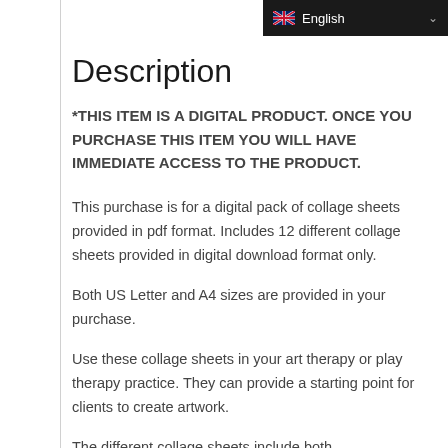[Figure (screenshot): Language selector dropdown bar showing English with UK flag icon, dark background]
Description
*THIS ITEM IS A DIGITAL PRODUCT. ONCE YOU PURCHASE THIS ITEM YOU WILL HAVE IMMEDIATE ACCESS TO THE PRODUCT.
This purchase is for a digital pack of collage sheets provided in pdf format. Includes 12 different collage sheets provided in digital download format only.
Both US Letter and A4 sizes are provided in your purchase.
Use these collage sheets in your art therapy or play therapy practice. They can provide a starting point for clients to create artwork.
The different collage sheets include both